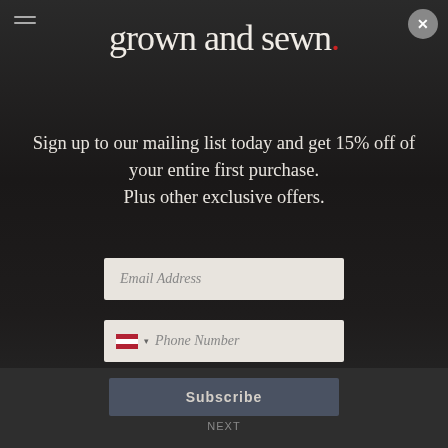[Figure (logo): grown and sewn. brand logo in large serif white text with a red period on a dark background]
Sign up to our mailing list today and get 15% off of your entire first purchase. Plus other exclusive offers.
Email Address
Phone Number
By clicking SIGN UP NOW, you agree to receive marketing text messages from Grown and Sewn at the number provided, including messages sent by autodialer. Consent is not a condition of any purchase. Message and data rates may apply. Message frequency varies. Reply HELP for help or STOP to cancel. View our Privacy Policy and Terms of Service.
Subscribe
NEXT